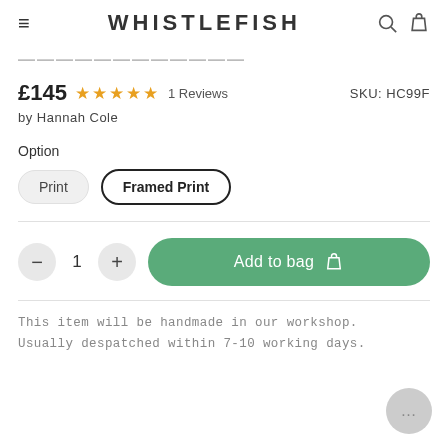WHISTLEFISH
£145  ★★★★★  1 Reviews  SKU: HC99F
by Hannah Cole
Option
Print  |  Framed Print
- 1 +  Add to bag
This item will be handmade in our workshop. Usually despatched within 7-10 working days.